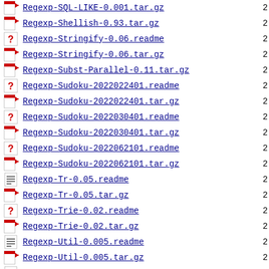Regexp-SQL-LIKE-0.001.tar.gz
Regexp-Shellish-0.93.tar.gz
Regexp-Stringify-0.06.readme
Regexp-Stringify-0.06.tar.gz
Regexp-Subst-Parallel-0.11.tar.gz
Regexp-Sudoku-2022022401.readme
Regexp-Sudoku-2022022401.tar.gz
Regexp-Sudoku-2022030401.readme
Regexp-Sudoku-2022030401.tar.gz
Regexp-Sudoku-2022062101.readme
Regexp-Sudoku-2022062101.tar.gz
Regexp-Tr-0.05.readme
Regexp-Tr-0.05.tar.gz
Regexp-Trie-0.02.readme
Regexp-Trie-0.02.tar.gz
Regexp-Util-0.005.readme
Regexp-Util-0.005.tar.gz
Regexp-VerbalExpressions-0.01.readme